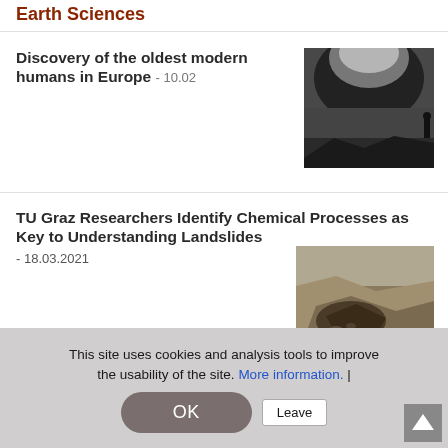Earth Sciences
Discovery of the oldest modern humans in Europe - 10.02
[Figure (photo): Dark cave or rocky landscape with a silhouetted figure standing in dramatic light]
TU Graz Researchers Identify Chemical Processes as Key to Understanding Landslides - 18.03.2021
[Figure (photo): Aerial or ground view of a landslide showing eroded earth and rocks]
This site uses cookies and analysis tools to improve the usability of the site. More information. |
OK
Leave